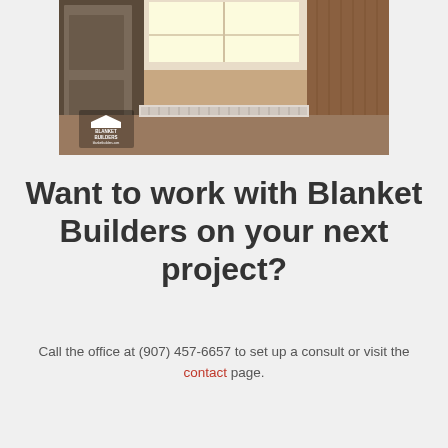[Figure (photo): Interior room photo showing a corner with a window, baseboard heaters, carpet flooring, and wood-paneled wall. A Blanket Builders logo watermark is visible in the lower left corner.]
Want to work with Blanket Builders on your next project?
Call the office at (907) 457-6657 to set up a consult or visit the contact page.